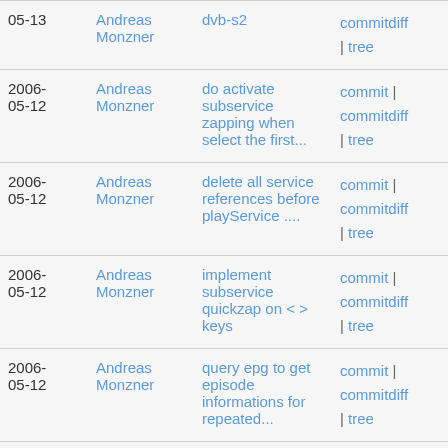| Date | Author | Description | Links |
| --- | --- | --- | --- |
| 05-13 | Andreas Monzner | dvb-s2 | commitdiff | tree |
| 2006-05-12 | Andreas Monzner | do activate subservice zapping when select the first... | commit | commitdiff | tree |
| 2006-05-12 | Andreas Monzner | delete all service references before playService .... | commit | commitdiff | tree |
| 2006-05-12 | Andreas Monzner | implement subservice quickzap on < > keys | commit | commitdiff | tree |
| 2006-05-12 | Andreas Monzner | query epg to get episode informations for repeated... | commit | commitdiff | tree |
| 2006-05-11 | Andreas Monzner | make swig happy | commit | commitdiff | tree |